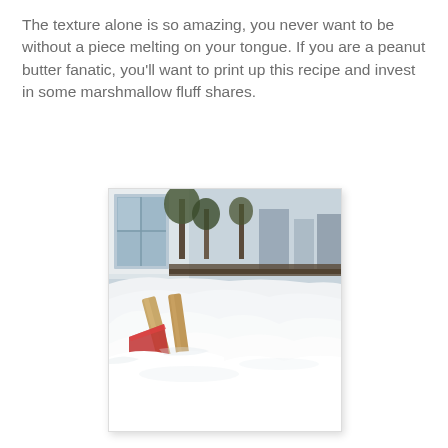The texture alone is so amazing, you never want to be without a piece melting on your tongue. If you are a peanut butter fanatic, you'll want to print up this recipe and invest in some marshmallow fluff shares.
[Figure (photo): Outdoor winter scene with deep snow covering the ground. A building window is visible in the background with trees. In the foreground, wooden sticks or posts and what appears to be a red object are partially buried in heavy snow.]